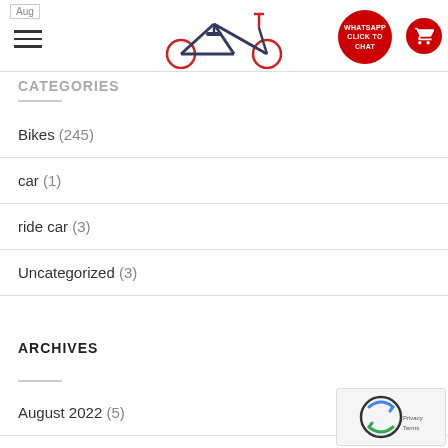THE SHARD BIKE — WHATSAPP CLICK TO CHAT
CATEGORIES
Bikes (245)
car (1)
ride car (3)
Uncategorized (3)
ARCHIVES
August 2022 (5)
July 2022 (15)
October 2021 (5)